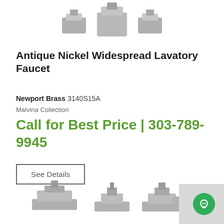[Figure (photo): Top portion of antique nickel faucet product image, showing handles and body from above]
Antique Nickel Widespread Lavatory Faucet
Newport Brass 3140S15A
Malvina Collection
Call for Best Price | 303-789-9945
See Details
[Figure (photo): Bottom portion of another faucet product image showing widespread lavatory faucet in nickel finish]